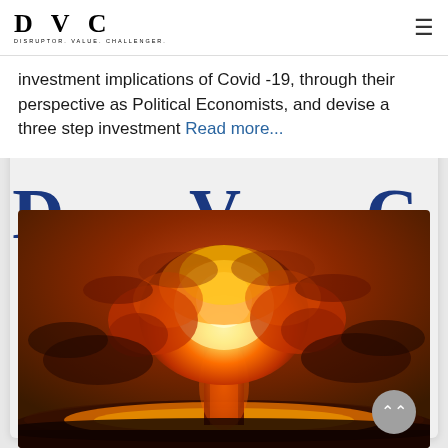DVC DISRUPTOR. VALUE. CHALLENGER.
investment implications of Covid -19, through their perspective as Political Economists, and devise a three step investment Read more...
[Figure (photo): Large 'D V C' letters in dark blue above a photograph of a nuclear explosion mushroom cloud against an orange sky with dramatic clouds.]
[Figure (photo): Nuclear mushroom cloud explosion photograph with orange and red fireballs rising into a dramatic cloudy sky.]